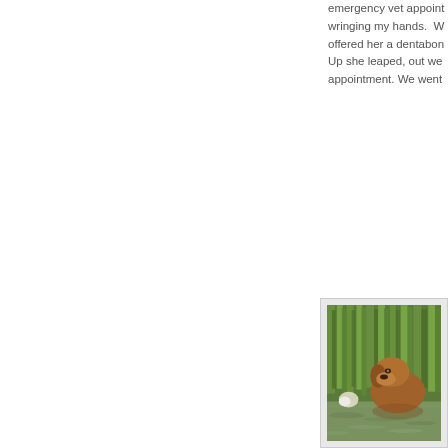emergency vet appoint... wringing my hands. W... offered her a dentabon... Up she leaped, out we ... appointment. We went ...
[Figure (photo): A brown dog wading through water with green reeds/grass in the background]